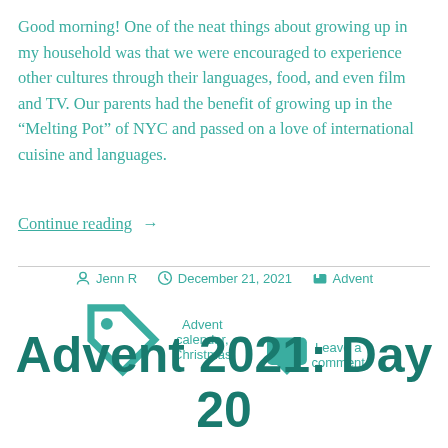Good morning! One of the neat things about growing up in my household was that we were encouraged to experience other cultures through their languages, food, and even film and TV. Our parents had the benefit of growing up in the “Melting Pot” of NYC and passed on a love of international cuisine and languages.
Continue reading →
Jenn R   December 21, 2021   Advent
Advent calendar, Christmas   Leave a comment
Advent 2021: Day 20